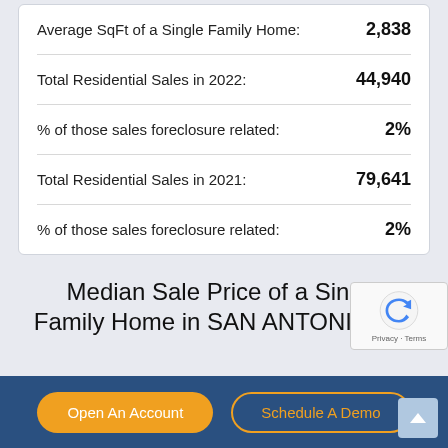| Metric | Value |
| --- | --- |
| Average SqFt of a Single Family Home: | 2,838 |
| Total Residential Sales in 2022: | 44,940 |
| % of those sales foreclosure related: | 2% |
| Total Residential Sales in 2021: | 79,641 |
| % of those sales foreclosure related: | 2% |
Median Sale Price of a Single Family Home in SAN ANTONIO, TX
Open An Account | Schedule A Demo